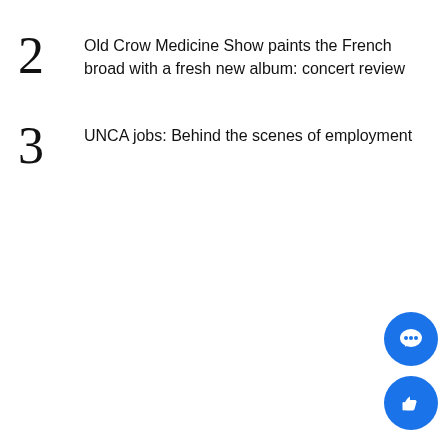2 Old Crow Medicine Show paints the French broad with a fresh new album: concert review
3 UNCA jobs: Behind the scenes of employment